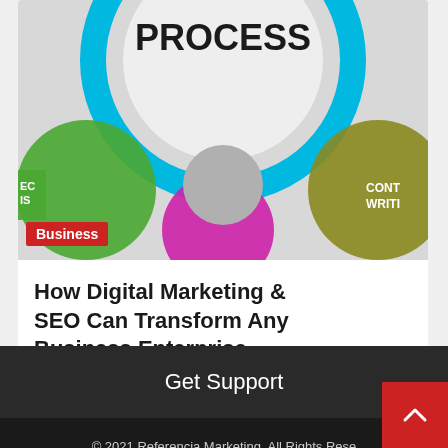[Figure (infographic): Partial view of a digital marketing / SEO process infographic with colorful circles and the word PROCESS visible at top, with colored circles (cyan, green, olive/yellow, magenta) and text fragments including 'CONT WRITI']
Business
How Digital Marketing & SEO Can Transform Any Business Enterprise.
3 months ago  Samuel Arthur
Get Support
© 2021 Referencia Marketing. All Rights Reserved. CoverNews by AF themes.